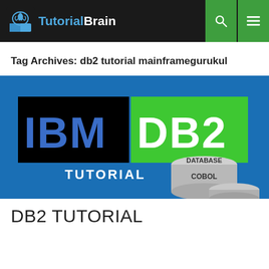TutorialBrain
Tag Archives: db2 tutorial mainframegurukul
[Figure (screenshot): IBM DB2 Tutorial banner image on blue background showing IBM logo in black box on left and DB2 in green box on right, with TUTORIAL text below IBM, and DATABASE / COBOL cylinder graphic on the right side]
DB2 TUTORIAL